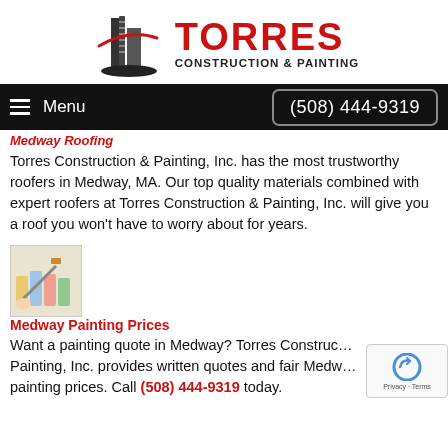[Figure (logo): Torres Construction & Painting logo with building/ruler graphic and red swoosh]
Menu  (508) 444-9319
Medway Roofing
Torres Construction & Painting, Inc. has the most trustworthy roofers in Medway, MA. Our top quality materials combined with expert roofers at Torres Construction & Painting, Inc. will give you a roof you won't have to worry about for years.
[Figure (photo): Small photo of painting supplies and color swatches]
Medway Painting Prices
Want a painting quote in Medway? Torres Construction & Painting, Inc. provides written quotes and fair Medway painting prices. Call (508) 444-9319 today.